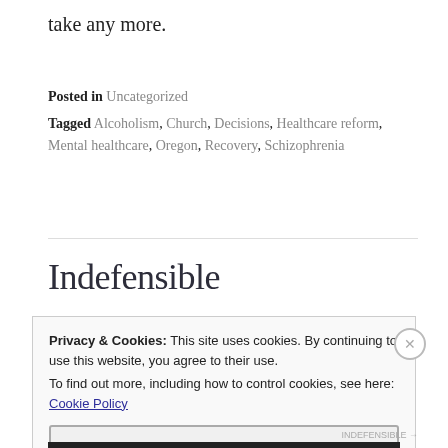take any more.
Posted in Uncategorized
Tagged Alcoholism, Church, Decisions, Healthcare reform, Mental healthcare, Oregon, Recovery, Schizophrenia
Indefensible
Privacy & Cookies: This site uses cookies. By continuing to use this website, you agree to their use. To find out more, including how to control cookies, see here: Cookie Policy
Close and accept